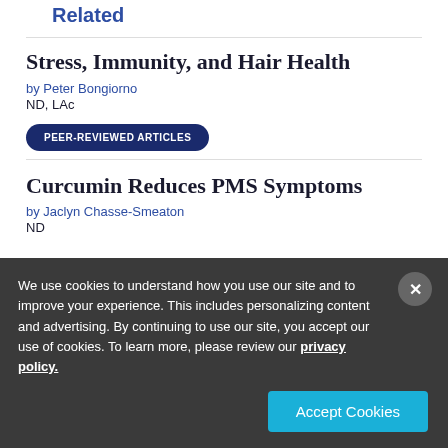Related
Stress, Immunity, and Hair Health
by Peter Bongiorno
ND, LAc
PEER-REVIEWED ARTICLES
Curcumin Reduces PMS Symptoms
by Jaclyn Chasse-Smeaton
ND
We use cookies to understand how you use our site and to improve your experience. This includes personalizing content and advertising. By continuing to use our site, you accept our use of cookies. To learn more, please review our privacy policy.
Accept Cookies